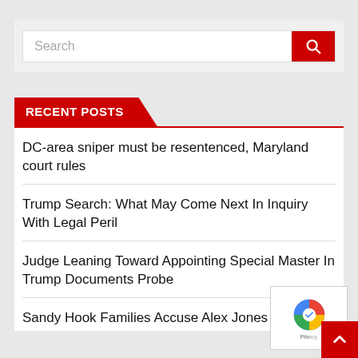[Figure (screenshot): Search bar with text input placeholder 'Search' and red search button with magnifying glass icon]
RECENT POSTS
DC-area sniper must be resentenced, Maryland court rules
Trump Search: What May Come Next In Inquiry With Legal Peril
Judge Leaning Toward Appointing Special Master In Trump Documents Probe
Sandy Hook Families Accuse Alex Jones Of